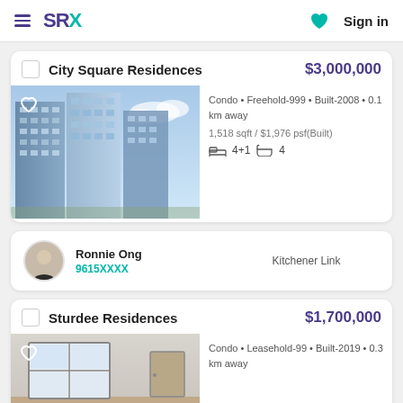SRX — Sign in
City Square Residences — $3,000,000 — Condo • Freehold-999 • Built-2008 • 0.1 km away — 1,518 sqft / $1,976 psf(Built) — 4+1 bedrooms, 4 bathrooms
Ronnie Ong — 9615XXXX — Kitchener Link
Sturdee Residences — $1,700,000 — Condo • Leasehold-99 • Built-2019 • 0.3 km away